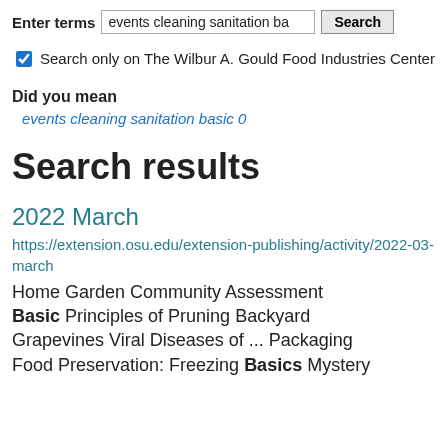Enter terms  events cleaning sanitation ba  Search
Search only on The Wilbur A. Gould Food Industries Center
Did you mean
events cleaning sanitation basic 0
Search results
2022 March
https://extension.osu.edu/extension-publishing/activity/2022-03-march
Home Garden Community Assessment Basic Principles of Pruning Backyard Grapevines Viral Diseases of ... Packaging Food Preservation: Freezing Basics Mystery